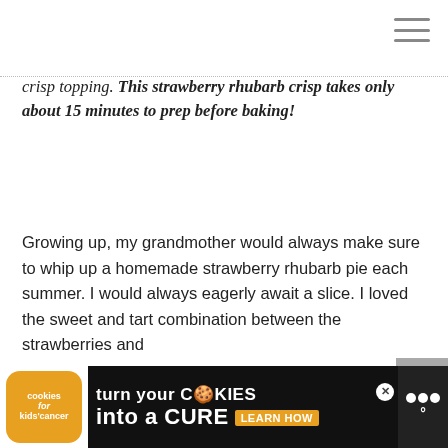[Figure (other): Hamburger menu icon (three horizontal lines) in top right corner]
crisp topping. This strawberry rhubarb crisp takes only about 15 minutes to prep before baking!
Growing up, my grandmother would always make sure to whip up a homemade strawberry rhubarb pie each summer. I would always eagerly await a slice. I loved the sweet and tart combination between the strawberries and
[Figure (other): Scroll to top arrow button (grey square with upward arrow)]
[Figure (other): Advertisement banner: cookies for kids cancer - turn your cookies into a cure - learn how, with brand logo on right]